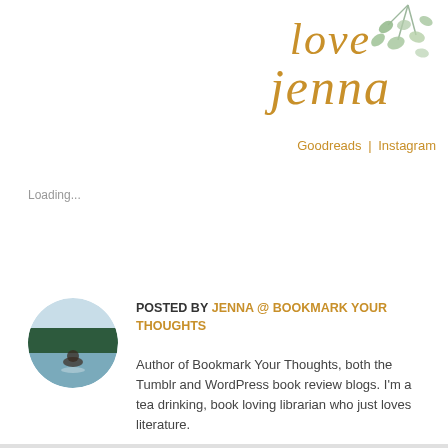[Figure (logo): Decorative script logo reading 'love jenna' in cursive gold lettering with eucalyptus leaf illustration in top right corner]
Goodreads | Instagram
Loading...
POSTED BY JENNA @ BOOKMARK YOUR THOUGHTS
[Figure (photo): Circular avatar photo of a person sitting by a lake with forested hills in background]
Author of Bookmark Your Thoughts, both the Tumblr and WordPress book review blogs. I'm a tea drinking, book loving librarian who just loves literature.